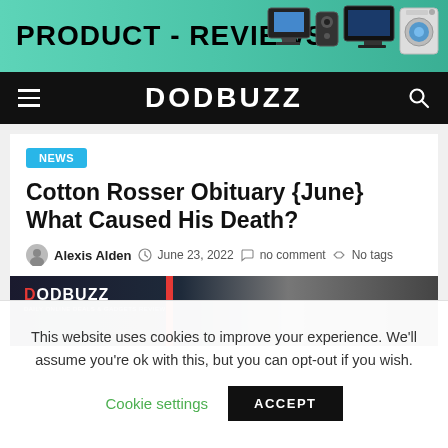[Figure (other): Product Reviews banner advertisement with teal/green background showing large bold text 'PRODUCT - REVIEWS' and electronics/appliance icons on the right]
DODBUZZ
NEWS
Cotton Rosser Obituary {June} What Caused His Death?
Alexis Alden  June 23, 2022  no comment  No tags
[Figure (other): DODBUZZ watermark/logo image strip in dark colors with red accent bar]
This website uses cookies to improve your experience. We'll assume you're ok with this, but you can opt-out if you wish.
Cookie settings  ACCEPT